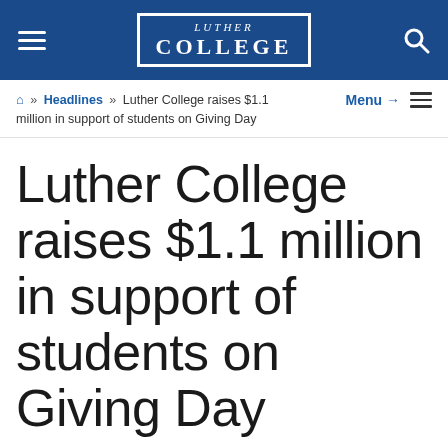LUTHER COLLEGE
⌂ » Headlines » Luther College raises $1.1 million in support of students on Giving Day
Luther College raises $1.1 million in support of students on Giving Day
March 16, 2022